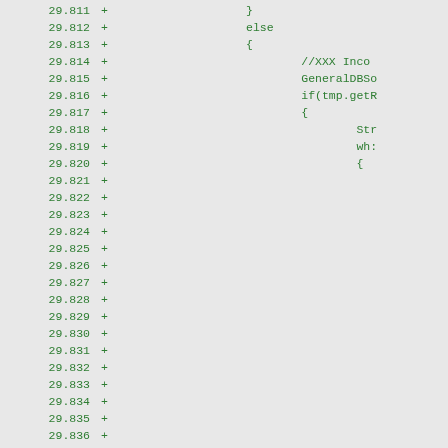Code diff view showing lines 29.811 through 29.842 with + markers and partial code content including }, else, {, //XXX Inco, GeneralDBSo, if(tmp.getR, {, Str, wh:, {